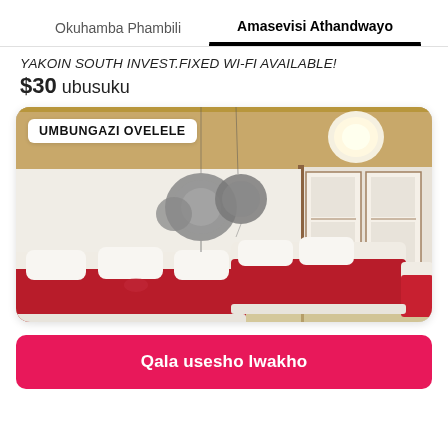Okuhamba Phambili	Amasevisi Athandwayo
YAKOIN SOUTH INVEST.Fixed Wi-Fi available!
$30 ubusuku
[Figure (photo): Japanese-style bedroom with two beds covered in red blankets, decorative hanging ornaments, wooden ceiling, and shoji screen doors in the background. Badge reads UMBUNGAZI OVELELE.]
Qala usesho lwakho